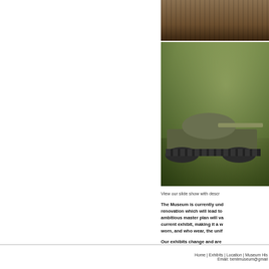[Figure (photo): Partial view of military vehicle tracks, cropped at top of image]
[Figure (photo): Military tank (appears to be M60 or similar) on outdoor display with trees in background]
View our slide show with descr
The Museum is currently und renovation which will lead to ambitious master plan will va current exhibit, making it a w worn, and who wear, the unif
Our exhibits change and are
Acquisition of Artifacts - We former members of the Texas A Guard. Contact the Museum R
Home | Exhibits | Location | Museum His Email: txmilmuseum@gmail